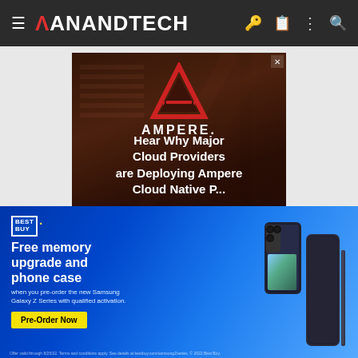AnandTech navigation bar with hamburger menu, logo, and icons
[Figure (screenshot): Ampere advertisement with red triangle logo on dark brown server room background. Text reads 'AMPERE.' and 'Hear Why Major Cloud Providers are Deploying Ampere Cloud Native P...']
[Figure (screenshot): Best Buy advertisement on blue gradient background. Shows Best Buy logo, text 'Free memory upgrade and phone case when you pre-order the new Samsung Galaxy Z Series with qualified activation.' with a Pre-Order Now button and Samsung Galaxy Z Fold phone image.]